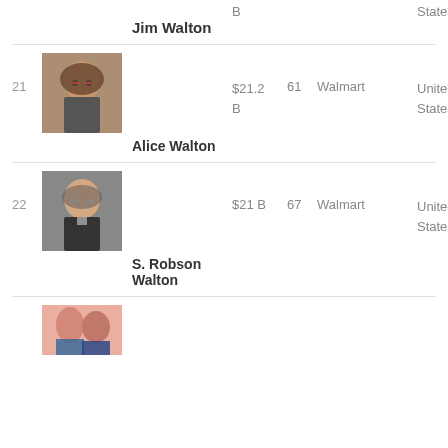B    States
Jim Walton
| Rank | Photo | Name | Wealth | Age | Source | Country |
| --- | --- | --- | --- | --- | --- | --- |
| 21 | [photo] | Alice Walton | $21.2 B | 61 | Walmart | United States |
| 22 | [photo] | S. Robson Walton | $21 B | 67 | Walmart | United States |
[Figure (photo): Partial photo at bottom of page, two people visible]